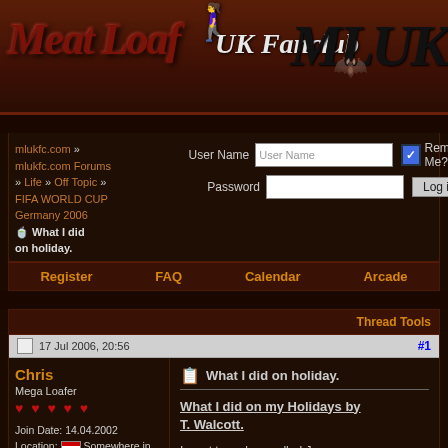[Figure (logo): Meat Loaf UK Fanclub banner with stylized red/orange text and MLUK logo on dark background]
mlukfc.com » mlukfc.com Forums » Life » Off Topic » FIFA WORLD CUP Germany 2006 » What I did on holiday.
User Name | Password | Remember Me? | Log in
Register   FAQ   Calendar   Arcade
Thread Tools
17 Jul 2006, 20:56   #1
Chris
Mega Loafer
Join Date: 14.04.2002
Location: Somewhere in the real world.
Posts: 7,527
What I did on holiday.
What I did on my Holidays by T. Walcott.
I went to a place called Jermany with my Uncle Sven adn some